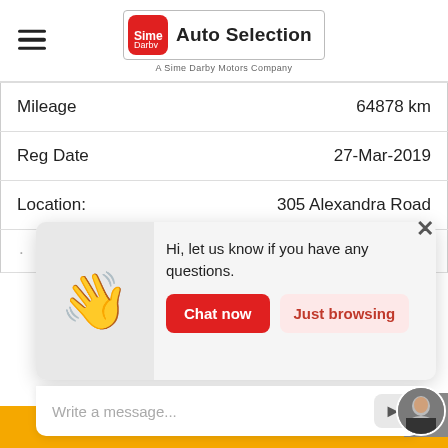Sime Darby Auto Selection — A Sime Darby Motors Company
| Field | Value |
| --- | --- |
| Mileage | 64878 km |
| Reg Date | 27-Mar-2019 |
| Location: | 305 Alexandra Road |
[Figure (screenshot): Chat popup with waving hand emoji, message 'Hi, let us know if you have any questions.', 'Chat now' button and 'Just browsing' button]
$122,800
Write a message...
Explore Vehicle